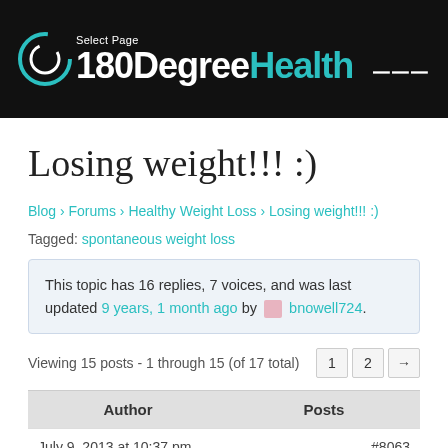Select Page | 180DegreeHealth
Losing weight!!! :)
Blog › Forums › Healthy Weight Loss › Losing weight!!! :)
Tagged: spontaneous weight loss
This topic has 16 replies, 7 voices, and was last updated 9 years, 1 month ago by bnowell724.
Viewing 15 posts - 1 through 15 (of 17 total)
| Author | Posts |
| --- | --- |
| July 9, 2013 at 10:37 pm | #8063 |